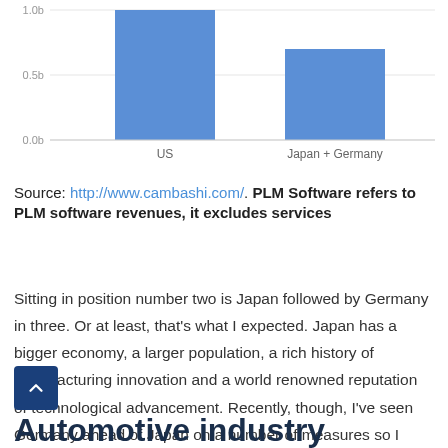[Figure (bar-chart): ]
Source: http://www.cambashi.com/. PLM Software refers to PLM software revenues, it excludes services
Sitting in position number two is Japan followed by Germany in three. Or at least, that's what I expected. Japan has a bigger economy, a larger population, a rich history of manufacturing innovation and a world renowned reputation of technological advancement. Recently, though, I've seen Germany ahead of Japan on a number of measures so I wanted to double check that expectation.
Automotive industry